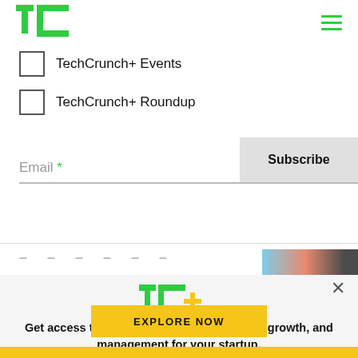[Figure (logo): TechCrunch green TC logo in header]
TechCrunch+ Events
TechCrunch+ Roundup
Email *
Subscribe
[Figure (logo): TC+ logo (green TC with yellow plus sign) in modal popup]
Get access to expert advice on fundraising, growth, and management for your startup.
EXPLORE NOW